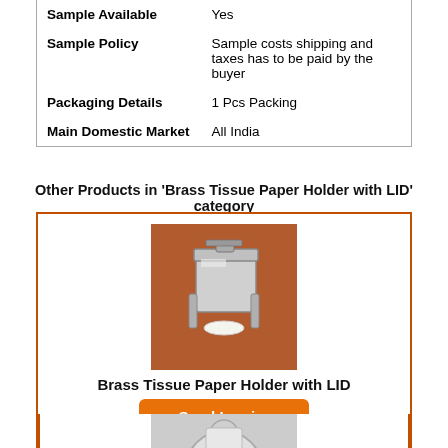|  |  |
| --- | --- |
| Sample Available | Yes |
| Sample Policy | Sample costs shipping and taxes has to be paid by the buyer |
| Packaging Details | 1 Pcs Packing |
| Main Domestic Market | All India |
Other Products in 'Brass Tissue Paper Holder with LID' category
[Figure (photo): Photo of a chrome/silver square brass tissue paper holder with lid, mounted on a brown/orange wall background]
Brass Tissue Paper Holder with LID
Send Inquiry
[Figure (photo): Photo of a round chrome tissue paper holder with lid on a grey background, partially visible]